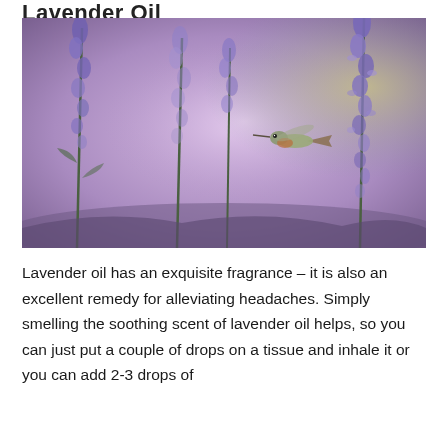Lavender Oil
[Figure (photo): A hummingbird hovering near tall purple lavender/salvia flowers against a soft blurred purple and green background]
Lavender oil has an exquisite fragrance – it is also an excellent remedy for alleviating headaches. Simply smelling the soothing scent of lavender oil helps, so you can just put a couple of drops on a tissue and inhale it or you can add 2-3 drops of